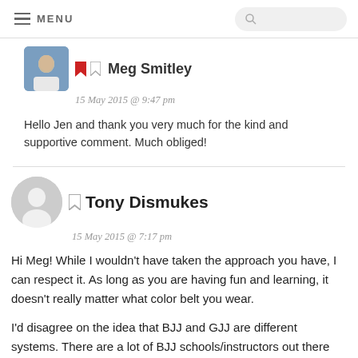MENU
Meg Smitley
15 May 2015 @ 9:47 pm
Hello Jen and thank you very much for the kind and supportive comment. Much obliged!
Tony Dismukes
15 May 2015 @ 7:17 pm
Hi Meg! While I wouldn't have taken the approach you have, I can respect it. As long as you are having fun and learning, it doesn't really matter what color belt you wear.
I'd disagree on the idea that BJJ and GJJ are different systems. There are a lot of BJJ schools/instructors out there with significantly different criteria for promotions. To say that they are all different systems based on those